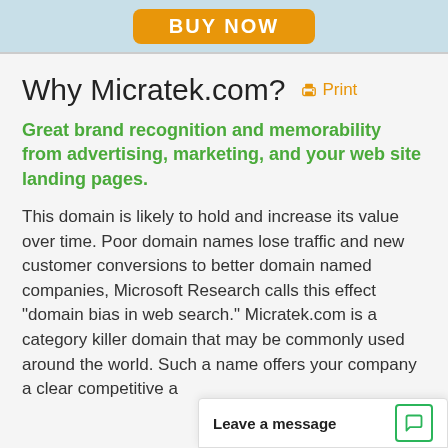[Figure (other): Orange BUY NOW button on light blue banner background]
Why Micratek.com?    Print
Great brand recognition and memorability from advertising, marketing, and your web site landing pages.
This domain is likely to hold and increase its value over time. Poor domain names lose traffic and new customer conversions to better domain named companies, Microsoft Research calls this effect "domain bias in web search." Micratek.com is a category killer domain that may be commonly used around the world. Such a name offers your company a clear competitive a
[Figure (other): Leave a message chat widget in bottom right corner]